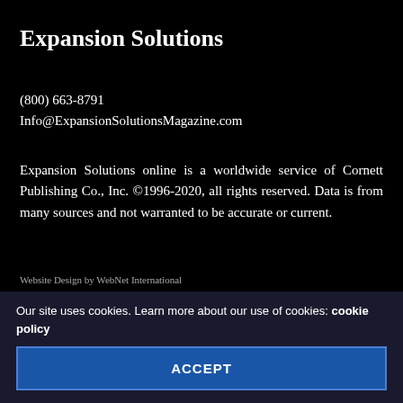Expansion Solutions
(800) 663-8791
Info@ExpansionSolutionsMagazine.com
Expansion Solutions online is a worldwide service of Cornett Publishing Co., Inc. ©1996-2020, all rights reserved. Data is from many sources and not warranted to be accurate or current.
Website Design by WebNet International
Our Sponsors
Our site uses cookies. Learn more about our use of cookies: cookie policy
ACCEPT